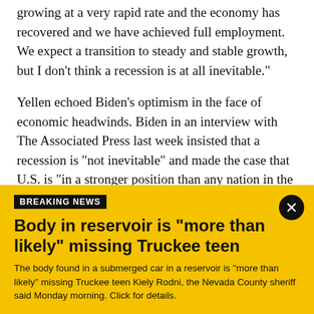growing at a very rapid rate and the economy has recovered and we have achieved full employment. We expect a transition to steady and stable growth, but I don't think a recession is at all inevitable."
Yellen echoed Biden's optimism in the face of economic headwinds. Biden in an interview with The Associated Press last week insisted that a recession is "not inevitable" and made the case that U.S. is "in a stronger position than any nation in the world to overcome this inflation."
BREAKING NEWS
Body in reservoir is "more than likely" missing Truckee teen
The body found in a submerged car in a reservoir is "more than likely" missing Truckee teen Kiely Rodni, the Nevada County sheriff said Monday morning. Click for details.